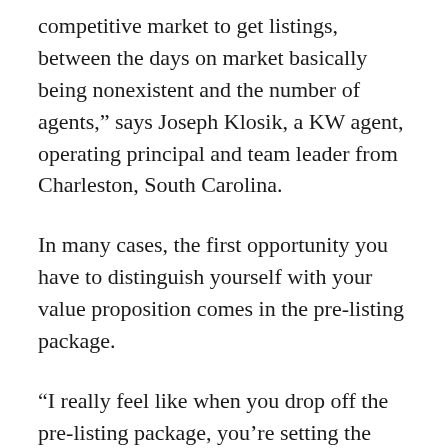competitive market to get listings, between the days on market basically being nonexistent and the number of agents,” says Joseph Klosik, a KW agent, operating principal and team leader from Charleston, South Carolina.
In many cases, the first opportunity you have to distinguish yourself with your value proposition comes in the pre-listing package.
“I really feel like when you drop off the pre-listing package, you’re setting the expectations for a seller and what they think is going to happen through the process,” says Nancy Chu, a KW agent, rainmaker, team lead, and market center investor from